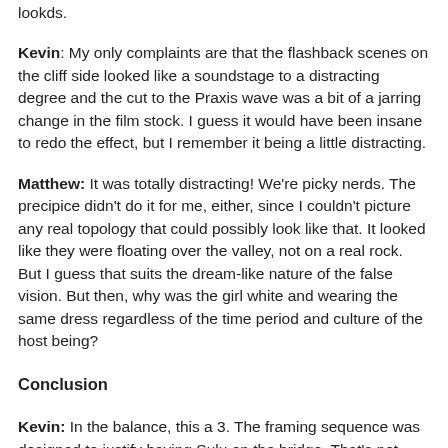lookds.
Kevin: My only complaints are that the flashback scenes on the cliff side looked like a soundstage to a distracting degree and the cut to the Praxis wave was a bit of a jarring change in the film stock. I guess it would have been insane to redo the effect, but I remember it being a little distracting.
Matthew: It was totally distracting! We're picky nerds. The precipice didn't do it for me, either, since I couldn't picture any real topology that could possibly look like that. It looked like they were floating over the valley, not on a real rock. But I guess that suits the dream-like nature of the false vision. But then, why was the girl white and wearing the same dress regardless of the time period and culture of the host being?
Conclusion
Kevin: In the balance, this a 3. The framing sequence was designed to justify having Sulu on the bridge. That's not great. That being said, once we got there, goshdarnit, it was fun, wasn't it? The actors all were having such a great time, and the story was affirming the significance of the better...